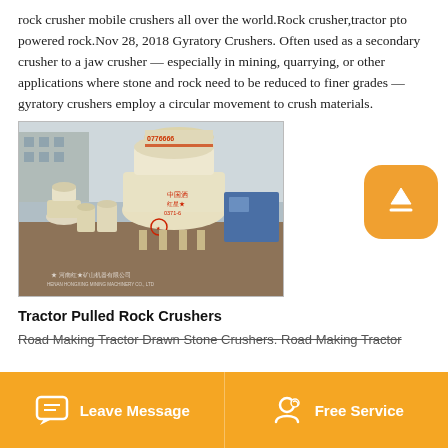rock crusher mobile crushers all over the world.Rock crusher,tractor pto powered rock.Nov 28, 2018 Gyratory Crushers. Often used as a secondary crusher to a jaw crusher — especially in mining, quarrying, or other applications where stone and rock need to be reduced to finer grades — gyratory crushers employ a circular movement to crush materials.
[Figure (photo): Row of large gyratory/cone crushers (cream/white colored) lined up in a yard. Chinese manufacturer branding visible including '红星' (Hongxing) and phone number 0371-6... and watermark 'HENAN HONGXING MINING MACHINERY CO., LTD'. Number 0776666 visible on top of front machine.]
Tractor Pulled Rock Crushers
Road Making Tractor Drawn Stone Crushers. Road Making Tractor...
Leave Message   Free Service